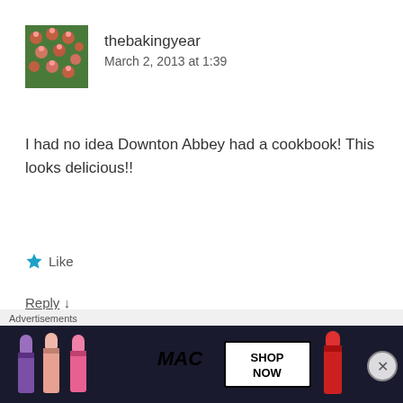[Figure (photo): Small square avatar image showing baked goods (pink/red dots on green background)]
thebakingyear
March 2, 2013 at 1:39
I had no idea Downton Abbey had a cookbook! This looks delicious!!
★ Like
Reply ↓
Comments are always appreciated!
[Figure (advertisement): MAC Cosmetics advertisement showing colorful lipsticks with SHOP NOW button]